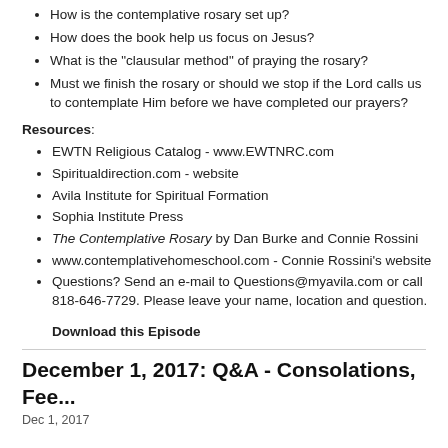How is the contemplative rosary set up?
How does the book help us focus on Jesus?
What is the "clausular method" of praying the rosary?
Must we finish the rosary or should we stop if the Lord calls us to contemplate Him before we have completed our prayers?
Resources:
EWTN Religious Catalog - www.EWTNRC.com
Spiritualdirection.com - website
Avila Institute for Spiritual Formation
Sophia Institute Press
The Contemplative Rosary by Dan Burke and Connie Rossini
www.contemplativehomeschool.com - Connie Rossini's website
Questions? Send an e-mail to Questions@myavila.com or call 818-646-7729. Please leave your name, location and question.
Download this Episode
December 1, 2017: Q&A - Consolations, Fee...
Dec 1, 2017